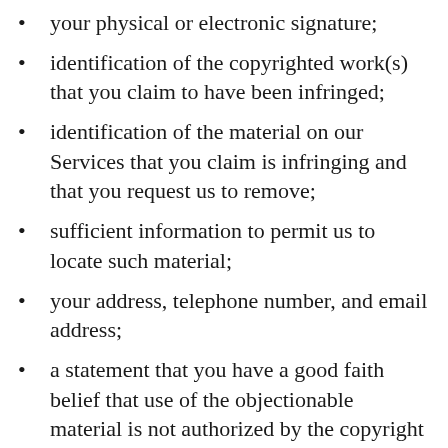your physical or electronic signature;
identification of the copyrighted work(s) that you claim to have been infringed;
identification of the material on our Services that you claim is infringing and that you request us to remove;
sufficient information to permit us to locate such material;
your address, telephone number, and email address;
a statement that you have a good faith belief that use of the objectionable material is not authorized by the copyright owner, its agent, or under the law; and
a statement that the information in the